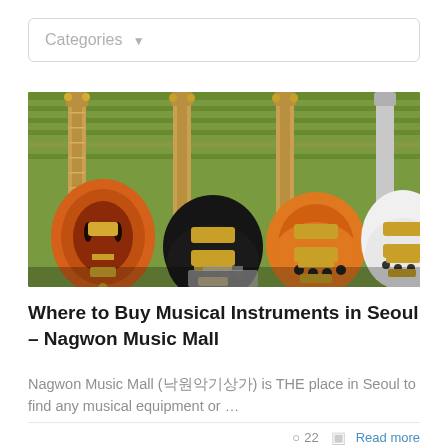Categories ▼
[Figure (photo): Row of electric guitars hanging on a wall in a music store — sunburst semi-hollow, black Les Paul style, orange/sunburst Les Paul style, and white Les Paul style guitars visible]
Where to Buy Musical Instruments in Seoul – Nagwon Music Mall
Nagwon Music Mall (낙원악기상가) is THE place in Seoul to find any musical equipment or …
○ 22  ▣ Read more